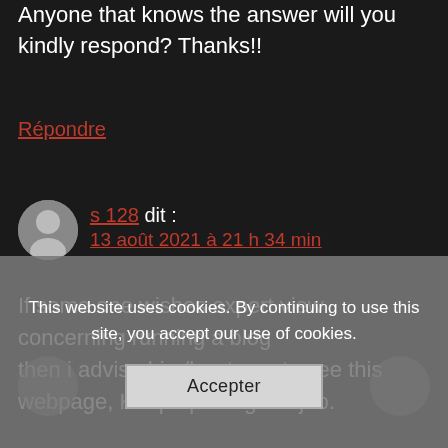Anyone that knows the answer will you kindly respond? Thanks!!
Répondre
s 128 dit : 13 août 2021 à 21 h 34 min
If some one wishes expert view concerning running a blog then i advise him/her to go to see this webpage, Keep up the good job.
This website uses cookies. By continuing to use this site, you accept our use of cookies.
Accepter